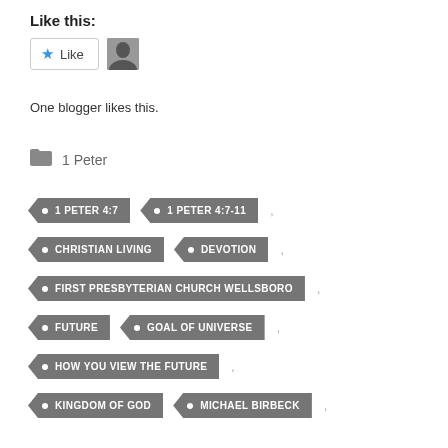Like this:
[Figure (other): Like button widget with star icon and user avatar]
One blogger likes this.
1 Peter
1 PETER 4:7
1 PETER 4:7-11
CHRISTIAN LIVING
DEVOTION
FIRST PRESBYTERIAN CHURCH WELLSBORO
FUTURE
GOAL OF UNIVERSE
HOW YOU VIEW THE FUTURE
KINGDOM OF GOD
MICHAEL BIRBECK